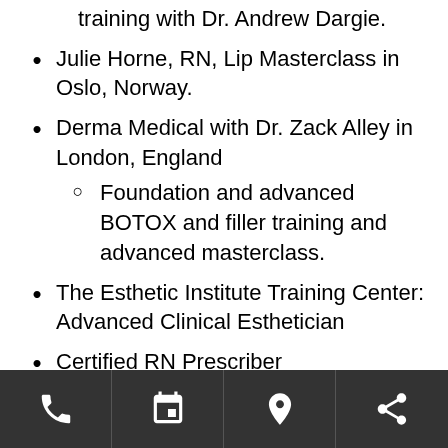training with Dr. Andrew Dargie.
Julie Horne, RN, Lip Masterclass in Oslo, Norway.
Derma Medical with Dr. Zack Alley in London, England
Foundation and advanced BOTOX and filler training and advanced masterclass.
The Esthetic Institute Training Center: Advanced Clinical Esthetician
Certified RN Prescriber
Facial Reshaping & Non-surgical Liplift
Dr. Harris Academy
[Phone] [Calendar] [Location] [Share]